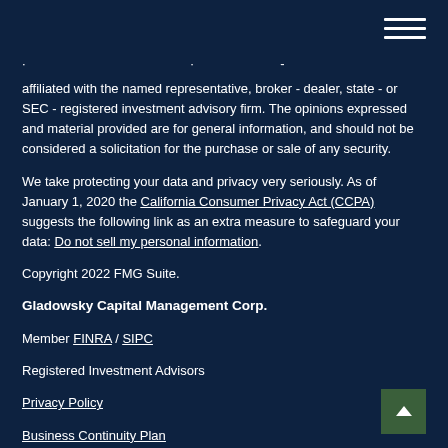[Figure (other): Hamburger menu icon (three horizontal lines) in top-right corner]
affiliated with the named representative, broker - dealer, state - or SEC - registered investment advisory firm. The opinions expressed and material provided are for general information, and should not be considered a solicitation for the purchase or sale of any security.
We take protecting your data and privacy very seriously. As of January 1, 2020 the California Consumer Privacy Act (CCPA) suggests the following link as an extra measure to safeguard your data: Do not sell my personal information.
Copyright 2022 FMG Suite.
Gladowsky Capital Management Corp.
Member FINRA / SIPC
Registered Investment Advisors
Privacy Policy
Business Continuity Plan
Form CRS